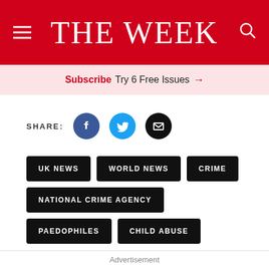THE WEEK
Subscribe Try 6 Free Issues →
SHARE:
UK NEWS
WORLD NEWS
CRIME
NATIONAL CRIME AGENCY
PAEDOPHILES
CHILD ABUSE
Advertisement